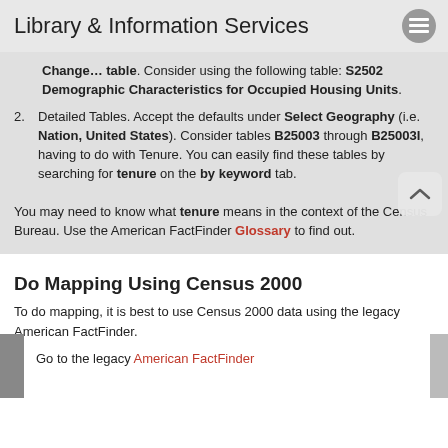Library & Information Services
Change… table. Consider using the following table: S2502 Demographic Characteristics for Occupied Housing Units.
2. Detailed Tables. Accept the defaults under Select Geography (i.e. Nation, United States). Consider tables B25003 through B25003I, having to do with Tenure. You can easily find these tables by searching for tenure on the by keyword tab.
You may need to know what tenure means in the context of the Census Bureau. Use the American FactFinder Glossary to find out.
Do Mapping Using Census 2000
To do mapping, it is best to use Census 2000 data using the legacy American FactFinder.
1. Go to the legacy American FactFinder